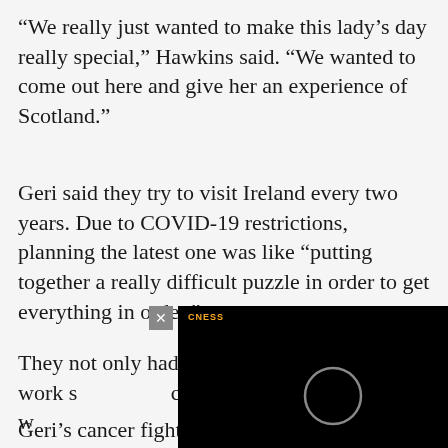“We really just wanted to make this lady’s day really special,” Hawkins said. “We wanted to come out here and give her an experience of Scotland.”
Geri said they try to visit Ireland every two years. Due to COVID-19 restrictions, planning the latest one was like “putting together a really difficult puzzle in order to get everything in order.”
[Figure (screenshot): Black video player overlay with a circular play indicator and a logo reading CNESS in the top left. An X close button appears in the upper right corner.]
They not only had everyone’s work s… chemotherapy, as w…
Geri’s cancer fight had already forced them…